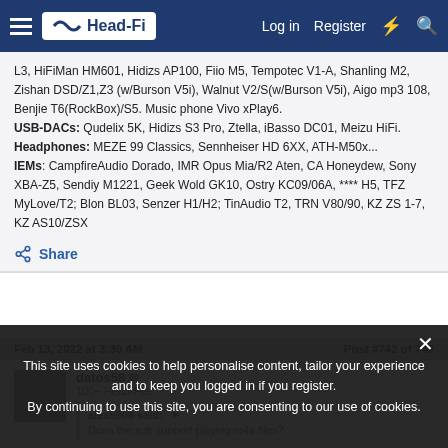Head-Fi | Log in | Register
L3, HiFiMan HM601, Hidizs AP100, Fiio M5, Tempotec V1-A, Shanling M2, Zishan DSD/Z1,Z3 (w/Burson V5i), Walnut V2/S(w/Burson V5i), Aigo mp3 108, Benjie T6(RockBox)/S5. Music phone Vivo xPlay6. USB-DACs: Qudelix 5K, Hidizs S3 Pro, Ztella, iBasso DC01, Meizu HiFi. Headphones: MEZE 99 Classics, Sennheiser HD 6XX, ATH-M50x... IEMs: CampfireAudio Dorado, IMR Opus Mia/R2 Aten, CA Honeydew, Sony XBA-Z5, Sendiy M1221, Geek Wold GK10, Ostry KC09/06A, **** H5, TFZ MyLove/T2; Blon BL03, Senzer H1/H2; TinAudio T2, TRN V80/90, KZ ZS 1-7, KZ AS10/ZSX
Share
Feb 13, 2022 at 3:30 AM    Post #742 of 742
datos58
100+ Head-Fier
alex5908 said:
Does the sub support playing m4a files?
This site uses cookies to help personalise content, tailor your experience and to keep you logged in if you register. By continuing to use this site, you are consenting to our use of cookies.